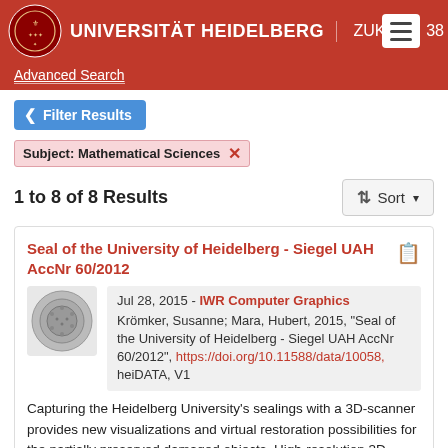[Figure (screenshot): Universität Heidelberg navigation bar with red background, university seal logo, title text, and hamburger menu]
Advanced Search
Filter Results
Subject: Mathematical Sciences ✕
1 to 8 of 8 Results
Sort
Seal of the University of Heidelberg - Siegel UAH AccNr 60/2012
Jul 28, 2015 - IWR Computer Graphics
Krömker, Susanne; Mara, Hubert, 2015, "Seal of the University of Heidelberg - Siegel UAH AccNr 60/2012", https://doi.org/10.11588/data/10058, heiDATA, V1
Capturing the Heidelberg University's sealings with a 3D-scanner provides new visualizations and virtual restoration possibilities for the partially preserved damaged objects. High-resolution 3D-models are analyzed due to their surface features, which cannot be documented with ph...